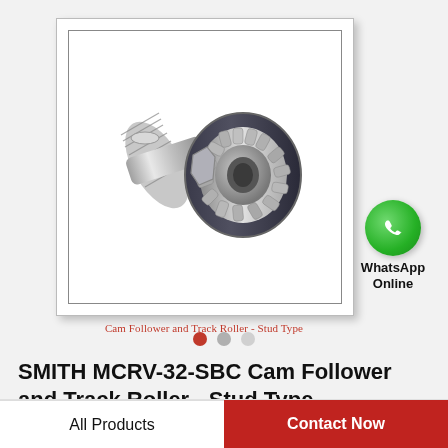[Figure (photo): Cam Follower and Track Roller - Stud Type component (SMITH MCRV-32-SBC), showing a threaded stud shaft with a large circular roller bearing head, metallic chrome and dark grey finish.]
Cam Follower and Track Roller - Stud Type
[Figure (logo): WhatsApp Online badge - green WhatsApp phone icon circle with 'WhatsApp Online' text below]
SMITH MCRV-32-SBC Cam Follower and Track Roller - Stud Type
All Products
Contact Now